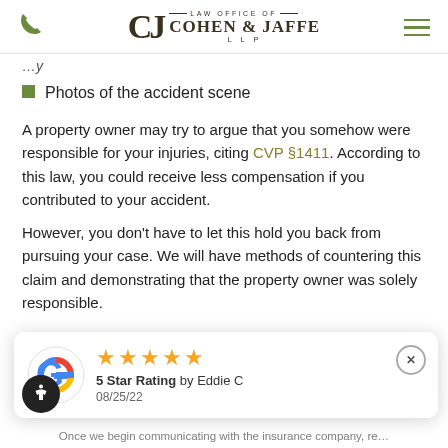Law Office of Cohen & Jaffe LLP
Photos of the accident scene
A property owner may try to argue that you somehow were responsible for your injuries, citing CVP §1411. According to this law, you could receive less compensation if you contributed to your accident.
However, you don't have to let this hold you back from pursuing your case. We will have methods of countering this claim and demonstrating that the property owner was solely responsible.
[Figure (screenshot): Google review widget showing 5 star rating by Eddie C on 08/25/22]
Once we begin communicating with the insurance company, re…